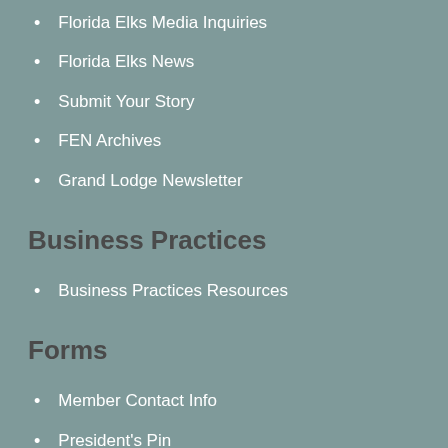Florida Elks Media Inquiries
Florida Elks News
Submit Your Story
FEN Archives
Grand Lodge Newsletter
Business Practices
Business Practices Resources
Forms
Member Contact Info
President's Pin